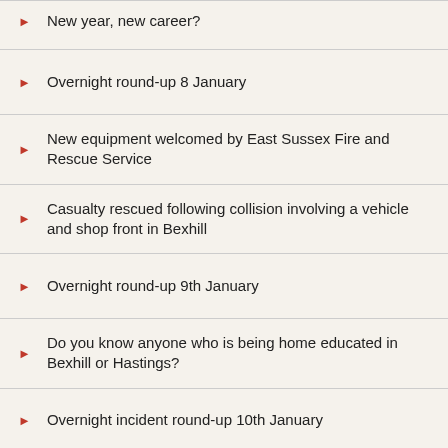New year, new career?
Overnight round-up 8 January
New equipment welcomed by East Sussex Fire and Rescue Service
Casualty rescued following collision involving a vehicle and shop front in Bexhill
Overnight round-up 9th January
Do you know anyone who is being home educated in Bexhill or Hastings?
Overnight incident round-up 10th January
Overnight incident round-up 11th January
High rise fire- Donald Hall Road, Brighton
Fire- Donald Hall Road, Brighton